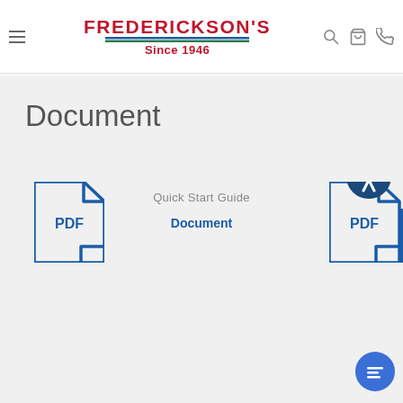FREDERICKSON'S Since 1946 — navigation header with hamburger menu, search, cart, and phone icons
Document
[Figure (illustration): Blue PDF document icon on the left side]
Quick Start Guide
Document
[Figure (illustration): Blue PDF document icon on the right side, partially cropped, with accessibility icon overlay]
[Figure (illustration): Blue circular chat bubble icon in the bottom right corner]